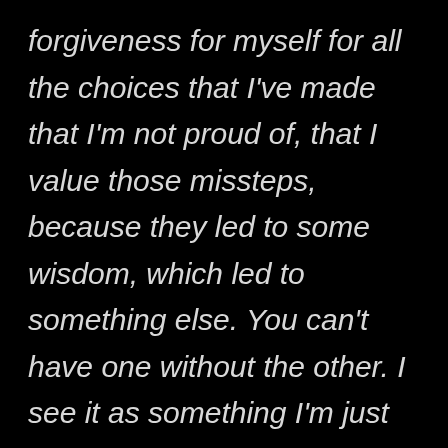forgiveness for myself for all the choices that I've made that I'm not proud of, that I value those missteps, because they led to some wisdom, which led to something else. You can't have one without the other. I see it as something I'm just now getting my arms around at